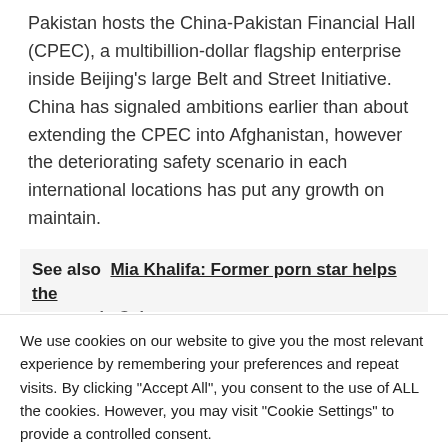Pakistan hosts the China-Pakistan Financial Hall (CPEC), a multibillion-dollar flagship enterprise inside Beijing's large Belt and Street Initiative. China has signaled ambitions earlier than about extending the CPEC into Afghanistan, however the deteriorating safety scenario in each international locations has put any growth on maintain.
See also  Mia Khalifa: Former porn star helps the protests in Cuba
We use cookies on our website to give you the most relevant experience by remembering your preferences and repeat visits. By clicking "Accept All", you consent to the use of ALL the cookies. However, you may visit "Cookie Settings" to provide a controlled consent.